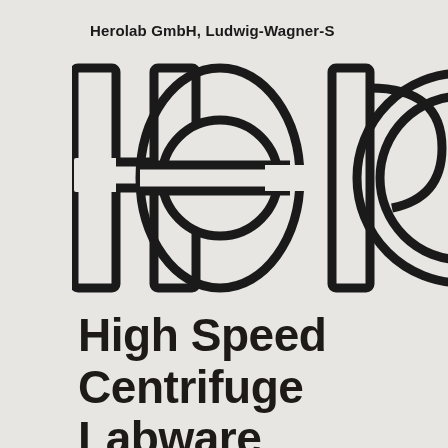Herolab GmbH, Ludwig-Wagner-S
[Figure (logo): Herolab logo in large outline/hollow font style showing 'Hero' with the 'e' stylized with a horizontal line through it and 'o' as a double-ring circle, partially cropped at right edge]
High Speed Centrifuge Labware